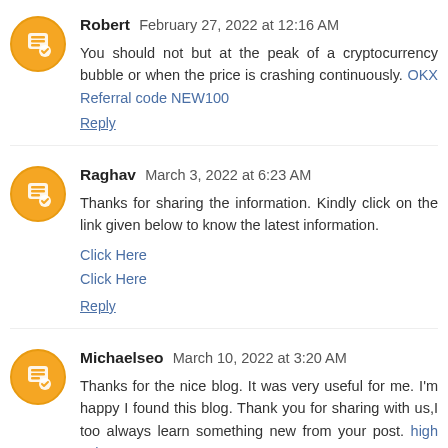Robert February 27, 2022 at 12:16 AM
You should not but at the peak of a cryptocurrency bubble or when the price is crashing continuously. OKX Referral code NEW100
Reply
Raghav March 3, 2022 at 6:23 AM
Thanks for sharing the information. Kindly click on the link given below to know the latest information.
Click Here
Click Here
Reply
Michaelseo March 10, 2022 at 3:20 AM
Thanks for the nice blog. It was very useful for me. I'm happy I found this blog. Thank you for sharing with us,I too always learn something new from your post. high voltage